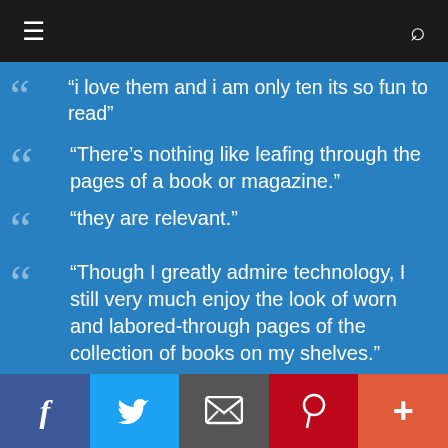navigation bar with hamburger menu and search icon
“i love them and i am only ten its so fun to read”
“There’s nothing like leafing through the pages of a book or magazine.”
“they are relevant.”
“Though I greatly admire technology, I still very much enjoy the look of worn and labored-through pages of the collection of books on my shelves.”
“They are indeed relevant. There is too, too much reliability on technology and electronics today. Bookstores at one time were adventurous, allusive,
Facebook | Twitter | Email | Pinterest | More